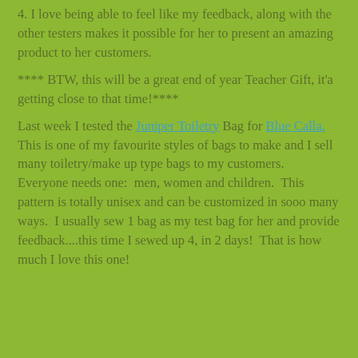4. I love being able to feel like my feedback, along with the other testers makes it possible for her to present an amazing product to her customers.
**** BTW, this will be a great end of year Teacher Gift, it'a getting close to that time!****
Last week I tested the Juniper Toiletry Bag for Blue Calla.  This is one of my favourite styles of bags to make and I sell many toiletry/make up type bags to my customers.  Everyone needs one:  men, women and children.  This pattern is totally unisex and can be customized in sooo many ways.  I usually sew 1 bag as my test bag for her and provide feedback....this time I sewed up 4, in 2 days!  That is how much I love this one!